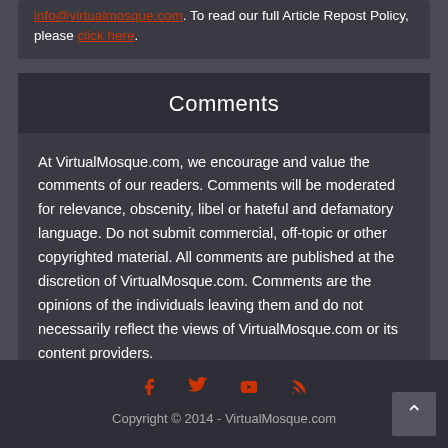info@virtualmosque.com. To read our full Article Repost Policy, please click here.
Comments
At VirtualMosque.com, we encourage and value the comments of our readers. Comments will be moderated for relevance, obscenity, libel or hateful and defamatory language. Do not submit commercial, off-topic or other copyrighted material. All comments are published at the discretion of VirtualMosque.com. Comments are the opinions of the individuals leaving them and do not necessarily reflect the views of VirtualMosque.com or its content providers.
Copyright © 2014 - VirtualMosque.com